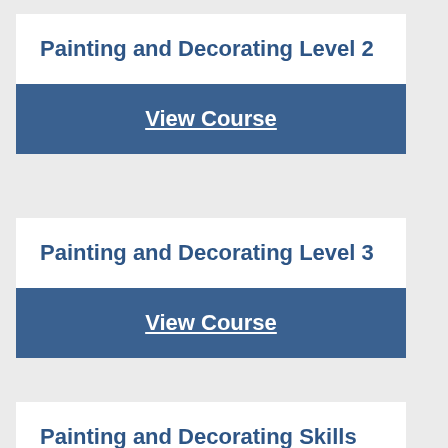Painting and Decorating Level 2
View Course
Painting and Decorating Level 3
View Course
Painting and Decorating Skills Level